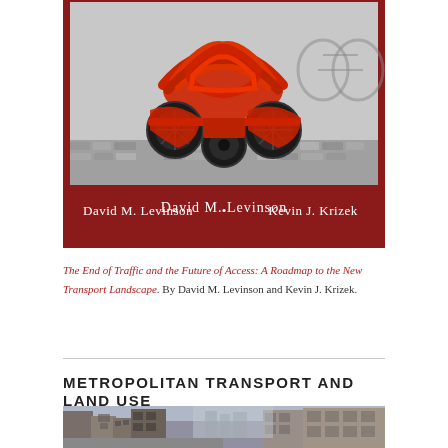[Figure (photo): Book cover with red background showing a red three-wheeled vehicle/velomobile on cobblestones, with authors David M. Levinson and Kevin J. Krizek listed at the bottom in white text]
The End of Traffic and the Future of Access: A Roadmap to the New Transport Landscape. By David M. Levinson and Kevin J. Krizek.
METROPOLITAN TRANSPORT AND LAND USE
[Figure (photo): Urban street scene with city buildings and a busy metropolitan street view]